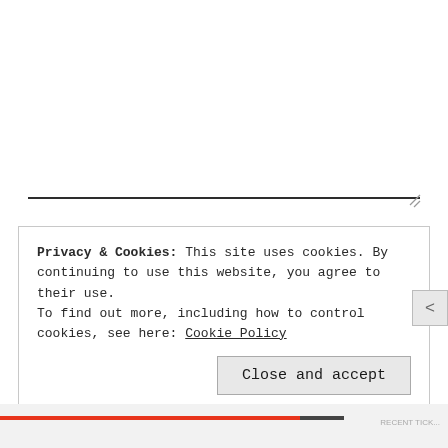[Figure (screenshot): A text area form field with a bottom border, showing a resize handle at the bottom right corner. The field appears empty.]
Name *
Privacy & Cookies: This site uses cookies. By continuing to use this website, you agree to their use.
To find out more, including how to control cookies, see here: Cookie Policy
Close and accept